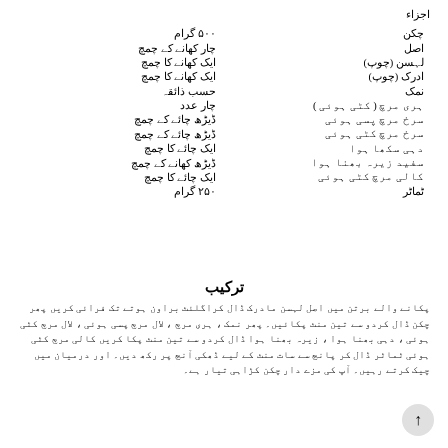اجزاء
| اجزاء | مقدار |
| --- | --- |
| چکن | 500 گرام |
| اصل | چار کھانے کے چمچ |
| لہسن (چوپ) | ایک کھانے کا چمچ |
| ادرک (چوپ) | ایک کھانے کا چمچ |
| نمک | حسب ذائقہ |
| ہری مرچ (کٹی ہوئی) | چار عدد |
| سرخ مرچ پسی ہوئی | ڈیڑھ چائے کے چمچ |
| سرخ مرچ کٹی ہوئی | ڈیڑھ چائے کے چمچ |
| دہی سکھا ہوا | ایک چائے کا چمچ |
| سفید زیرہ بھنا ہوا | ڈیڑھ کھانے کے چمچ |
| کالی مرچ کٹی ہوئی | ایک چائے کا چمچ |
| ٹماٹر | 250 گرام |
ترکیب
پکانے والے برتن میں اصل لہسن مادرک ڈال کراگلئٹ براون ہوتے تک فرائی کریں پھر چکن ڈال کردو سے تین منٹ پکائیں۔ پھر نمک ، ہری مرچ ، لال مرچ پسی ہوئی ، لال مرچ کٹی ہوئی ، دہی بھنا ہوا ، زیرہ بھنا ہوا ڈال کردو سے تین منٹ پکا کریں کالی مرچ کٹی ہوئی ٹماٹر ڈال کر پانچ سے سات منٹ کے لیے ڈھکی آنچ پر رکھ دیں۔ اور درمیان میں چیک کرتے رہیں۔ آپ کی مزے دار چکن کڑاہی تیار ہے۔